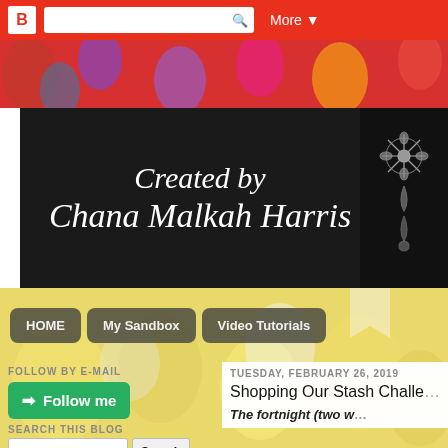Blogger top navigation bar with search
[Figure (screenshot): Background photo of colorful balloons and craft supplies]
Created by Chana Malkah Harris
[Figure (illustration): Decorative floral/snowflake design on dark background]
[Figure (screenshot): Background photo of yellow craft balloons and supplies]
HOME | My Sandbox | Video Tutorials
FOLLOW BY E-MAIL
Follow me
TUESDAY, FEBRUARY 26, 2019
Shopping Our Stash Challe...
SEARCH THIS BLOG
The fortnight (two ...